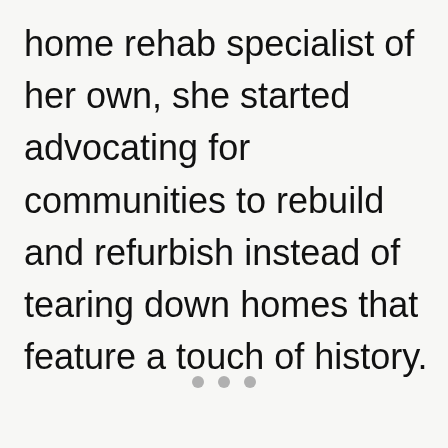home rehab specialist of her own, she started advocating for communities to rebuild and refurbish instead of tearing down homes that feature a touch of history.
[Figure (other): Three small grey dots arranged horizontally, likely a pagination or section break indicator]